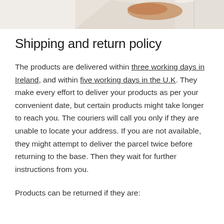[Figure (photo): Partial view of a product image at the top of the page, showing what appears to be a light-colored item with tan/orange accents against a white background.]
Shipping and return policy
The products are delivered within three working days in Ireland, and within five working days in the U.K. They make every effort to deliver your products as per your convenient date, but certain products might take longer to reach you. The couriers will call you only if they are unable to locate your address. If you are not available, they might attempt to deliver the parcel twice before returning to the base. Then they wait for further instructions from you.
Products can be returned if they are: